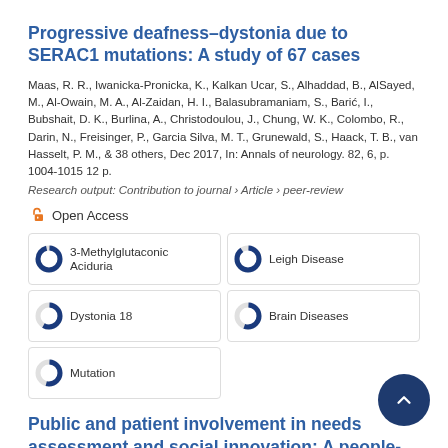Progressive deafness–dystonia due to SERAC1 mutations: A study of 67 cases
Maas, R. R., Iwanicka-Pronicka, K., Kalkan Ucar, S., Alhaddad, B., AlSayed, M., Al-Owain, M. A., Al-Zaidan, H. I., Balasubramaniam, S., Barić, I., Bubshait, D. K., Burlina, A., Christodoulou, J., Chung, W. K., Colombo, R., Darin, N., Freisinger, P., Garcia Silva, M. T., Grunewald, S., Haack, T. B., van Hasselt, P. M., & 38 others, Dec 2017, In: Annals of neurology. 82, 6, p. 1004-1015 12 p.
Research output: Contribution to journal › Article › peer-review
Open Access
| 3-Methylglutaconic Aciduria | Leigh Disease |
| Dystonia 18 | Brain Diseases |
| Mutation |  |
Public and patient involvement in needs assessment and social innovation: A people-centred approach to care and research for congenital disorders of